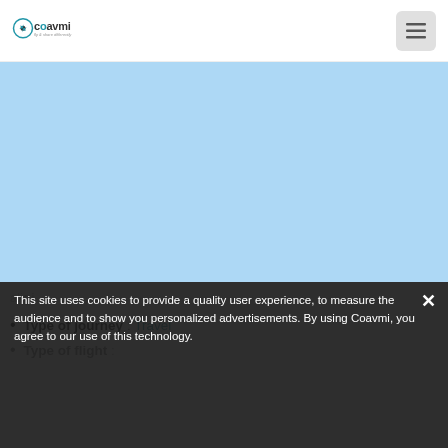[Figure (logo): Coavmi logo with tagline 'fly & share differently']
[Figure (photo): Large hero image with light blue background (placeholder)]
This site uses cookies to provide a quality user experience, to measure the audience and to show you personalized advertisements. By using Coavmi, you agree to our use of this technology.
Type of journey : Travel
Type of flight :